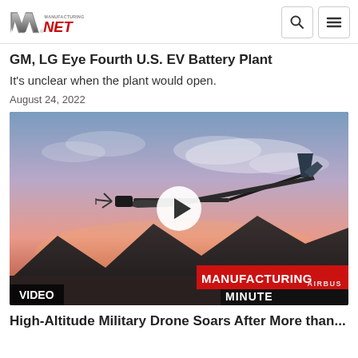Manufacturing.NET
GM, LG Eye Fourth U.S. EV Battery Plant
It's unclear when the plant would open.
August 24, 2022
[Figure (screenshot): Video thumbnail showing an Airbus high-altitude drone/UAV in flight against a sunset sky with mountains. Overlay shows Manufacturing Minute branding in red and white, AIRBUS watermark, a white circular play button in the center, and a VIDEO label in the bottom-left corner.]
High-Altitude Military Drone Soars After More than...